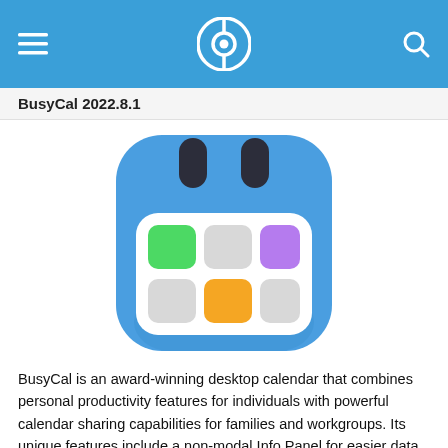BusyCal 2022.8.1
[Figure (illustration): BusyCal app icon: a blue rounded-square calendar icon with two dark oval calendar ring attachments at the top, and a white inner panel showing a 2x3 grid of rounded squares colored green, light gray, purple (top row), light gray, orange, light gray (bottom row).]
BusyCal is an award-winning desktop calendar that combines personal productivity features for individuals with powerful calendar sharing capabilities for families and workgroups. Its unique features include a non-modal Info Panel for easier data entry; To Dos that display in the